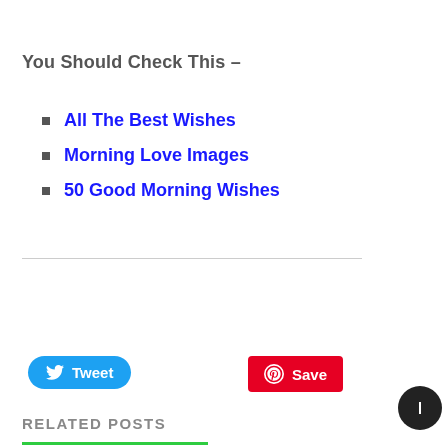You Should Check This –
All The Best Wishes
Morning Love Images
50 Good Morning Wishes
Tweet
Save
RELATED POSTS